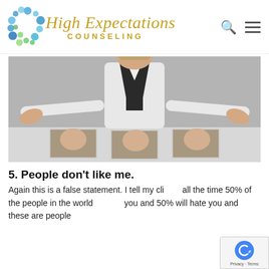[Figure (logo): High Expectations Counseling logo with colorful bubble/circle cluster on left and script + sans-serif text on right, with search and hamburger menu icons]
[Figure (photo): Woman in white shirt and black vest sitting at table with arms spread wide, with three upside-down photographs of her face laid out on the table in front of her]
5. People don't like me.
Again this is a false statement. I tell my clients all the time 50% of the people in the world will like you and 50% will hate you and these are people